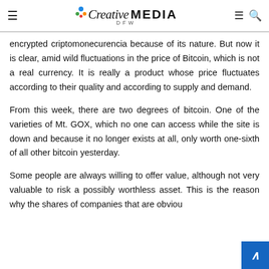Creative DFW MEDIA
encrypted criptomonecurencia because of its nature. But now it is clear, amid wild fluctuations in the price of Bitcoin, which is not a real currency. It is really a product whose price fluctuates according to their quality and according to supply and demand.
From this week, there are two degrees of bitcoin. One of the varieties of Mt. GOX, which no one can access while the site is down and because it no longer exists at all, only worth one-sixth of all other bitcoin yesterday.
Some people are always willing to offer value, although not very valuable to risk a possibly worthless asset. This is the reason why the shares of companies that are obviou... (continues)